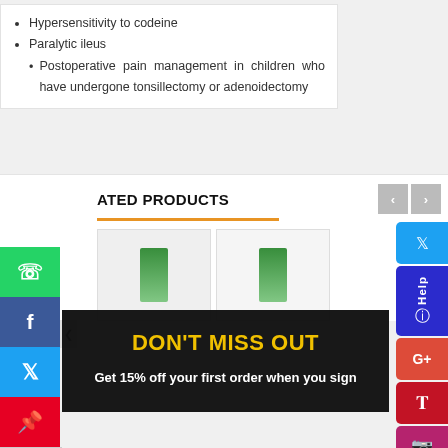Hypersensitivity to codeine
Paralytic ileus
Postoperative pain management in children who have undergone tonsillectomy or adenoidectomy
ATED PRODUCTS
[Figure (screenshot): DON'T MISS OUT promotional overlay on dark background with text: Get 15% off your first order when you sign]
[Figure (screenshot): Notification popup: Lizzy in Northampton, United Kingdom purchased: Lennon Haarlemensis Drops 20ml, 2 hours ago]
verified ⚡ by Autoketing